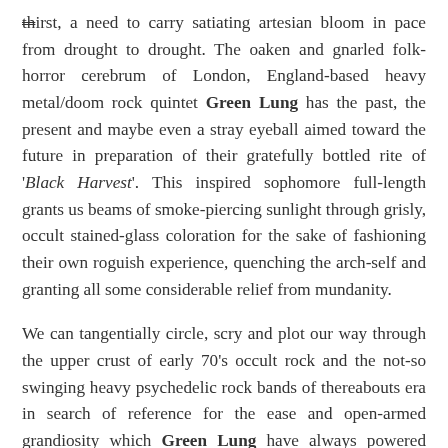thirst, a need to carry satiating artesian bloom in pace from drought to drought. The oaken and gnarled folk-horror cerebrum of London, England-based heavy metal/doom rock quintet Green Lung has the past, the present and maybe even a stray eyeball aimed toward the future in preparation of their gratefully bottled rite of 'Black Harvest'. This inspired sophomore full-length grants us beams of smoke-piercing sunlight through grisly, occult stained-glass coloration for the sake of fashioning their own roguish experience, quenching the arch-self and granting all some considerable relief from mundanity.
We can tangentially circle, scry and plot our way through the upper crust of early 70's occult rock and the not-so swinging heavy psychedelic rock bands of thereabouts era in search of reference for the ease and open-armed grandiosity which Green Lung have always powered forth and there is no denying the next logical step unto cult NWOBHM that'd leaned towards Lizzy (Demon) and Sabbath